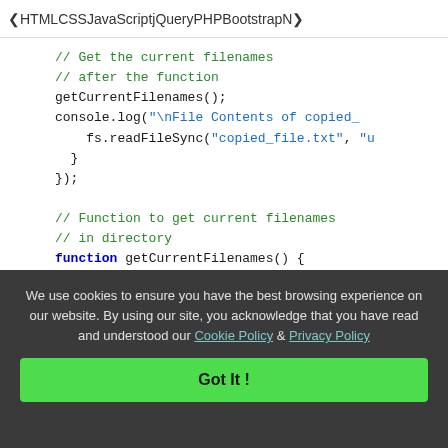< HTML  CSS  JavaScript  jQuery  PHP  Bootstrap  N>
[Figure (screenshot): JavaScript code snippet showing getCurrentFilenames function and related code with syntax highlighting. Comments in green, keywords in blue, string literals in blue/orange.]
We use cookies to ensure you have the best browsing experience on our website. By using our site, you acknowledge that you have read and understood our Cookie Policy & Privacy Policy
Got It !